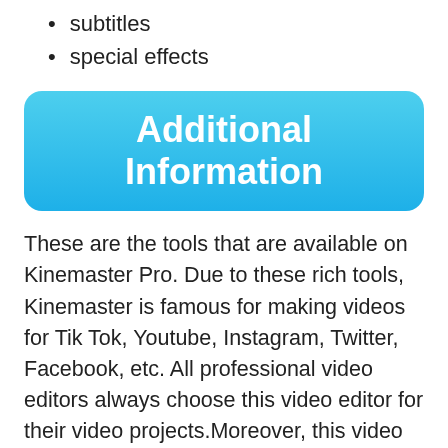subtitles
special effects
Additional Information
These are the tools that are available on Kinemaster Pro. Due to these rich tools, Kinemaster is famous for making videos for Tik Tok, Youtube, Instagram, Twitter, Facebook, etc. All professional video editors always choose this video editor for their video projects.Moreover, this video editor is so simple to use. If you are a newbie in video editing. Then this video editor is for you. You still can create stunning videos using Kinemaster pro. Even if you have zero video editing knowledge. Because it has a very simple and easy Graphical user interface